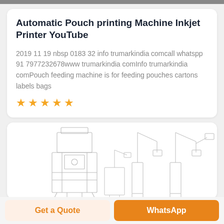Automatic Pouch printing Machine Inkjet Printer YouTube
2019 11 19 nbsp 0183 32 info trumarkindia comcall whatspp 91 7977232678www trumarkindia comInfo trumarkindia comPouch feeding machine is for feeding pouches cartons labels bags
[Figure (illustration): Five orange star rating icons in a row]
[Figure (schematic): Line sketch drawings of automatic pouch printing machines - one large machine on the left and three smaller machine variants on the right]
Get a Quote
WhatsApp